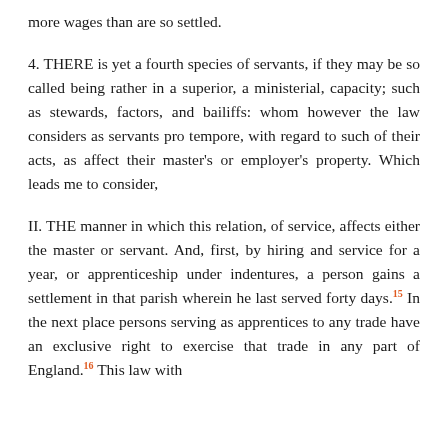more wages than are so settled.
4. THERE is yet a fourth species of servants, if they may be so called being rather in a superior, a ministerial, capacity; such as stewards, factors, and bailiffs: whom however the law considers as servants pro tempore, with regard to such of their acts, as affect their master's or employer's property. Which leads me to consider,
II. THE manner in which this relation, of service, affects either the master or servant. And, first, by hiring and service for a year, or apprenticeship under indentures, a person gains a settlement in that parish wherein he last served forty days.15 In the next place persons serving as apprentices to any trade have an exclusive right to exercise that trade in any part of England.16 This law with